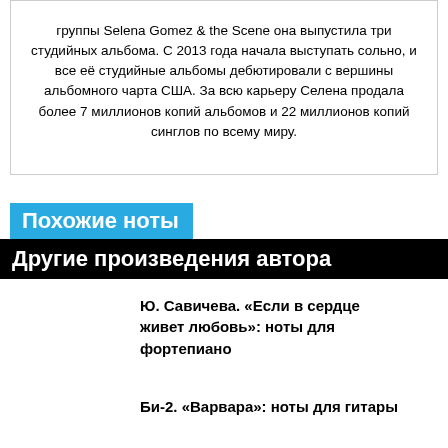группы Selena Gomez & the Scene она выпустила три студийных альбома. С 2013 года начала выступать сольно, и все её студийные альбомы дебютировали с вершины альбомного чарта США. За всю карьеру Селена продала более 7 миллионов копий альбомов и 22 миллионов копий синглов по всему миру.
Похожие ноты
Другие произведения автора
Ю. Савичева. «Если в сердце живет любовь»: ноты для фортепиано
Би-2. «Варвара»: ноты для гитары